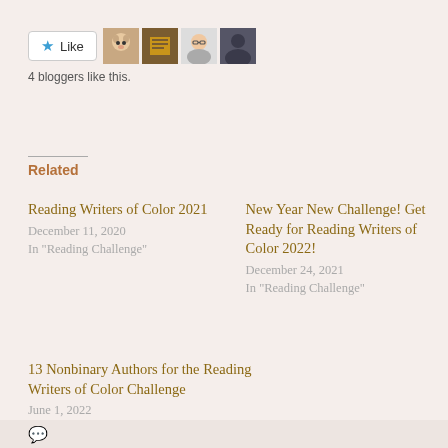[Figure (screenshot): Like button with star icon and 4 blogger avatar thumbnails]
4 bloggers like this.
Related
Reading Writers of Color 2021
December 11, 2020
In "Reading Challenge"
New Year New Challenge! Get Ready for Reading Writers of Color 2022!
December 24, 2021
In "Reading Challenge"
13 Nonbinary Authors for the Reading Writers of Color Challenge
June 1, 2022
In "Reading Challenge"